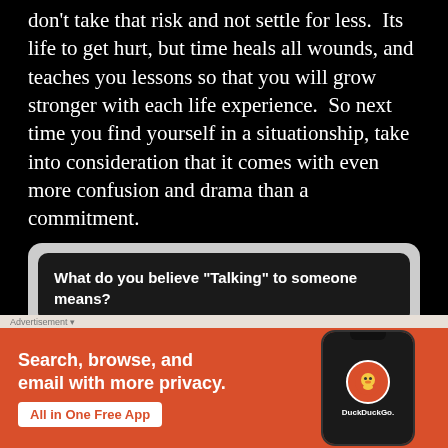don't take that risk and not settle for less. Its life to get hurt, but time heals all wounds, and teaches you lessons so that you will grow stronger with each life experience. So next time you find yourself in a situationship, take into consideration that it comes with even more confusion and drama than a commitment.
[Figure (other): A quiz widget with dark rounded question box asking 'What do you believe "Talking" to someone means?' with a radio button option 'An intimate relationship with one person' below it, on a gray rounded background.]
[Figure (other): DuckDuckGo advertisement banner with orange background. Text reads 'Search, browse, and email with more privacy. All in One Free App' with a phone mockup showing DuckDuckGo logo.]